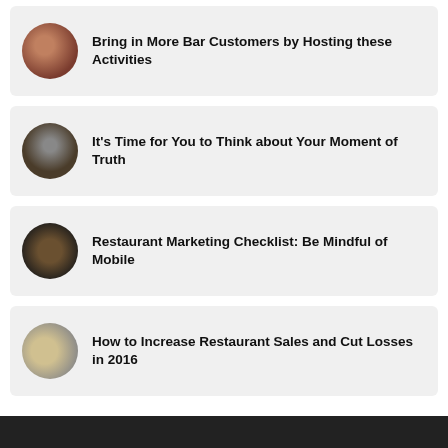Bring in More Bar Customers by Hosting these Activities
It's Time for You to Think about Your Moment of Truth
Restaurant Marketing Checklist: Be Mindful of Mobile
How to Increase Restaurant Sales and Cut Losses in 2016